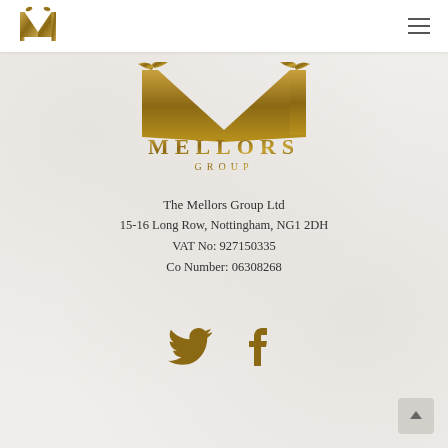Mellors Group navigation header with logo M and hamburger menu
[Figure (logo): Mellors Group logo: large stylized golden M with two birds, text MELLORS GROUP below]
The Mellors Group Ltd
15-16 Long Row, Nottingham, NG1 2DH
VAT No: 927150335
Co Number: 06308268
[Figure (illustration): Social media icons: Twitter bird icon and Facebook f icon, both in golden-brown color]